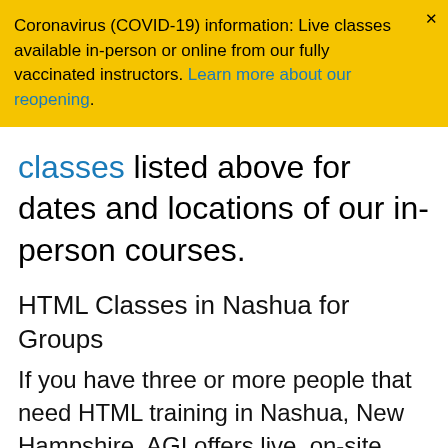Coronavirus (COVID-19) information: Live classes available in-person or online from our fully vaccinated instructors. Learn more about our reopening.
classes listed above for dates and locations of our in-person courses.
HTML Classes in Nashua for Groups
If you have three or more people that need HTML training in Nashua, New Hampshire, AGI offers live, on-site training at your location for your group. We also have dedicated classroom space at our offices in several U.S. cities if you prefer to hold the course in one of our training centers.